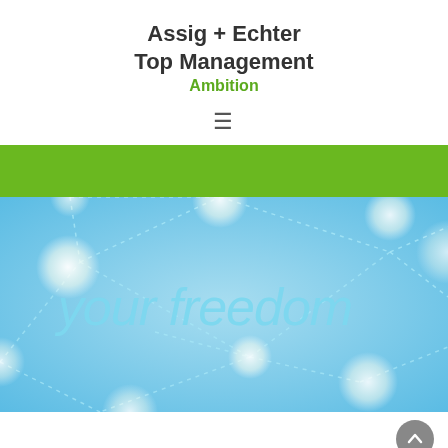Assig + Echter
Top Management
Ambition
[Figure (infographic): Blue background infographic with dotted network lines and glowing white circles, text reading 'your freedom' in light blue italic font]
[Figure (other): Scroll-to-top button (circular grey button with upward arrow) in bottom right corner]